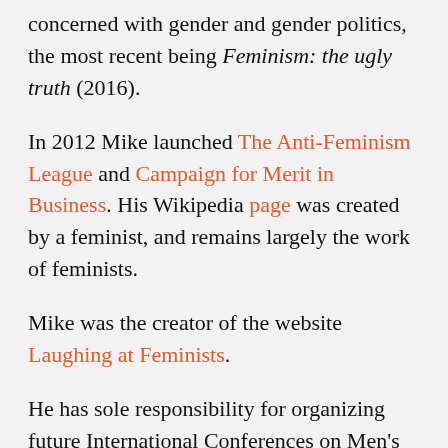concerned with gender and gender politics, the most recent being Feminism: the ugly truth (2016).
In 2012 Mike launched The Anti-Feminism League and Campaign for Merit in Business. His Wikipedia page was created by a feminist, and remains largely the work of feminists.
Mike was the creator of the website Laughing at Feminists.
He has sole responsibility for organizing future International Conferences on Men's Issues (ICMIs) in Europe, and was